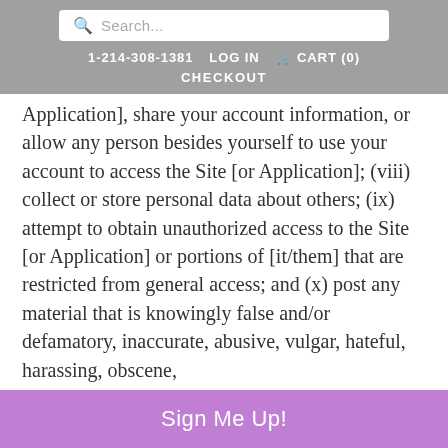Search... | 1-214-308-1381 | LOG IN | CART (0) | CHECKOUT
Application], share your account information, or allow any person besides yourself to use your account to access the Site [or Application]; (viii) collect or store personal data about others; (ix) attempt to obtain unauthorized access to the Site [or Application] or portions of [it/them] that are restricted from general access; and (x) post any material that is knowingly false and/or defamatory, inaccurate, abusive, vulgar, hateful, harassing, obscene,
Sign Me Up!